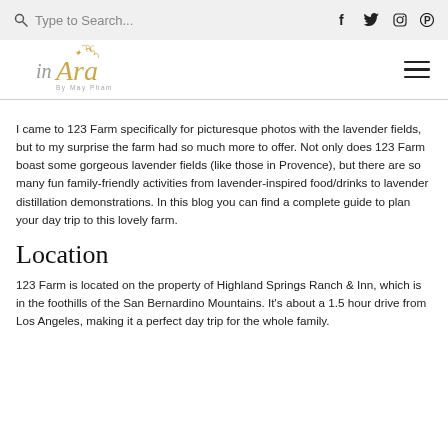Type to Search...  [social icons: f, Twitter, Instagram, Pinterest]
[Figure (logo): inAra by May Pham logo with decorative floral script lettering in gold/grey]
I came to 123 Farm specifically for picturesque photos with the lavender fields, but to my surprise the farm had so much more to offer. Not only does 123 Farm boast some gorgeous lavender fields (like those in Provence), but there are so many fun family-friendly activities from lavender-inspired food/drinks to lavender distillation demonstrations. In this blog you can find a complete guide to plan your day trip to this lovely farm.
Location
123 Farm is located on the property of Highland Springs Ranch & Inn, which is in the foothills of the San Bernardino Mountains. It's about a 1.5 hour drive from Los Angeles, making it a perfect day trip for the whole family.